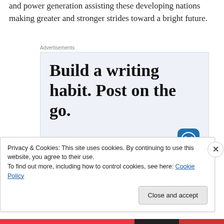and power generation assisting these developing nations making greater and stronger strides toward a bright future.
Advertisements
[Figure (other): WordPress advertisement banner with text 'Build a writing habit. Post on the go.' and a 'GET THE APP' call-to-action with WordPress logo]
Privacy & Cookies: This site uses cookies. By continuing to use this website, you agree to their use.
To find out more, including how to control cookies, see here: Cookie Policy
Close and accept